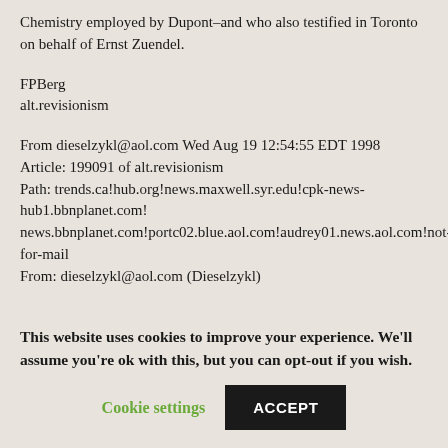Chemistry employed by Dupont–and who also testified in Toronto on behalf of Ernst Zuendel.
FPBerg
alt.revisionism
From dieselzykl@aol.com Wed Aug 19 12:54:55 EDT 1998
Article: 199091 of alt.revisionism
Path: trends.ca!hub.org!news.maxwell.syr.edu!cpk-news-hub1.bbnplanet.com!
news.bbnplanet.com!portc02.blue.aol.com!audrey01.news.aol.com!not-for-mail
From: dieselzykl@aol.com (Dieselzykl)
This website uses cookies to improve your experience. We'll assume you're ok with this, but you can opt-out if you wish.
Cookie settings
ACCEPT